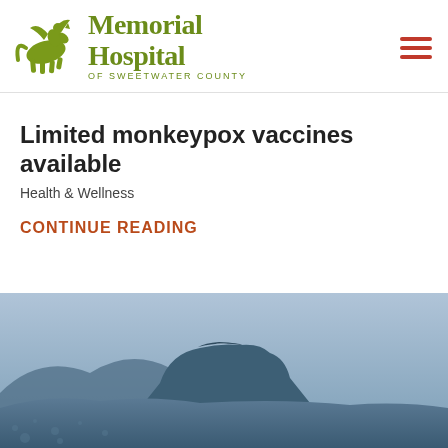[Figure (logo): Memorial Hospital of Sweetwater County logo with a horse and rider silhouette in olive green, alongside the hospital name in olive green text]
Limited monkeypox vaccines available
Health & Wellness
CONTINUE READING
[Figure (photo): A blue-toned landscape photograph showing a butte or mesa silhouette against sky, with foreground desert terrain]